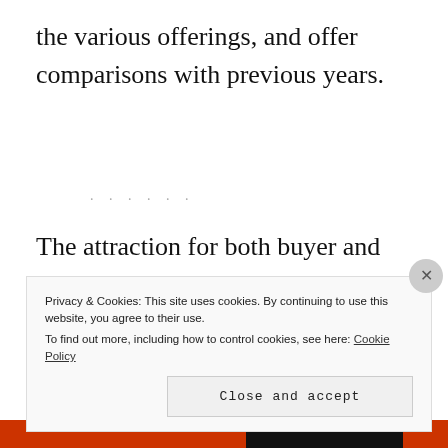the various offerings, and offer comparisons with previous years.
The attraction for both buyer and seller is clear. The seller has the chance to
Privacy & Cookies: This site uses cookies. By continuing to use this website, you agree to their use.
To find out more, including how to control cookies, see here: Cookie Policy
Close and accept